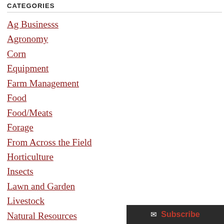CATEGORIES
Ag Businesss
Agronomy
Corn
Equipment
Farm Management
Food
Food/Meats
Forage
From Across the Field
Horticulture
Insects
Lawn and Garden
Livestock
Natural Resources
Nutrient Management